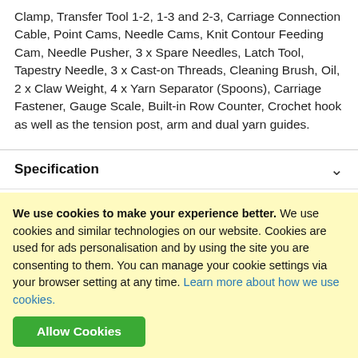Clamp, Transfer Tool 1-2, 1-3 and 2-3, Carriage Connection Cable, Point Cams, Needle Cams, Knit Contour Feeding Cam, Needle Pusher, 3 x Spare Needles, Latch Tool, Tapestry Needle, 3 x Cast-on Threads, Cleaning Brush, Oil, 2 x Claw Weight, 4 x Yarn Separator (Spoons), Carriage Fastener, Gauge Scale, Built-in Row Counter, Crochet hook as well as the tension post, arm and dual yarn guides.
Specification
UPC: 610696778352
We use cookies to make your experience better. We use cookies and similar technologies on our website. Cookies are used for ads personalisation and by using the site you are consenting to them. You can manage your cookie settings via your browser setting at any time. Learn more about how we use cookies.